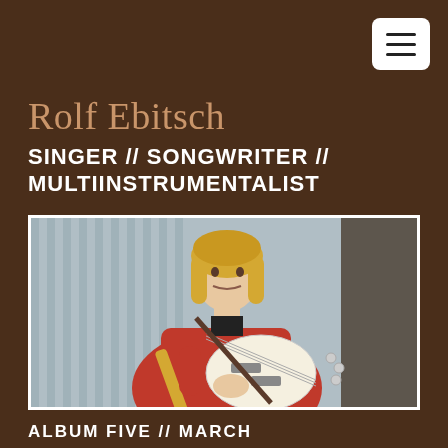[Figure (other): Hamburger menu button (three horizontal lines) in a white rounded rectangle, top right corner]
Rolf Ebitsch
SINGER // SONGWRITER // MULTIINSTRUMENTALIST
[Figure (photo): Young man with shoulder-length blond hair wearing a red jacket, holding a white electric guitar (Rickenbacker style), seated, looking at camera. Background has vertical grey stripes/blinds.]
ALBUM FIVE // MARCH